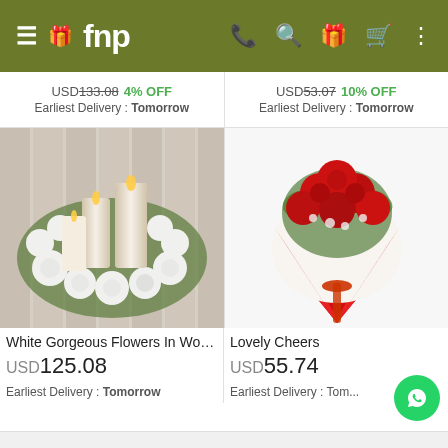fnp - mobile app header
USD 133.08  4% OFF
Earliest Delivery : Tomorrow
USD 53.07  10% OFF
Earliest Delivery : Tomorrow
[Figure (photo): White flower arrangement with candles in a circular wreath on a wooden table]
[Figure (photo): Bouquet of red roses wrapped in red and white paper]
White Gorgeous Flowers In Woo...
USD 125.08
Earliest Delivery : Tomorrow
Lovely Cheers
USD 55.74
Earliest Delivery : Tom...